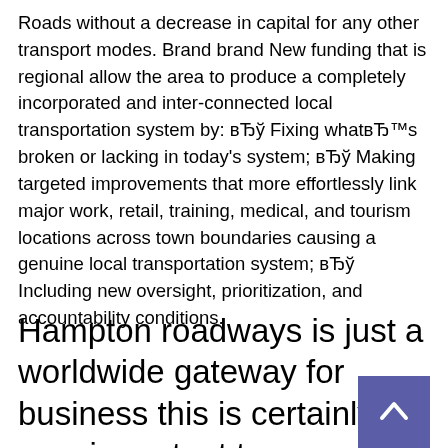Roads without a decrease in capital for any other transport modes. Brand brand New funding that is regional allow the area to produce a completely incorporated and inter-connected local transportation system by: вЂў Fixing whatвЂ™s broken or lacking in today's system; вЂў Making targeted improvements that more effortlessly link major work, retail, training, medical, and tourism locations across town boundaries causing a genuine local transportation system; вЂў Including new oversight, prioritization, and accountability conditions.
Hampton roadways is just a worldwide gateway for business this is certainly very important to VirginiaвЂ™s economy